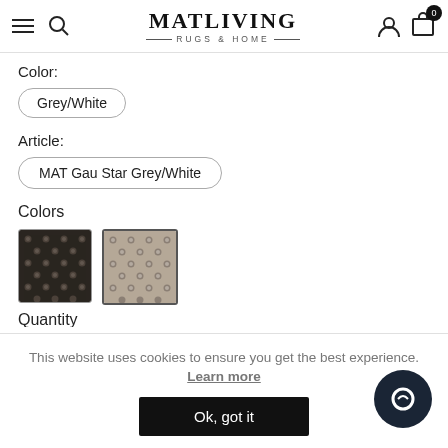MATLIVING RUGS & HOME
Color:
Grey/White
Article:
MAT Gau Star Grey/White
Colors
[Figure (photo): Two rug color swatches showing star/geometric patterns - dark grey/black and lighter grey/brown variants]
Quantity (partially visible)
This website uses cookies to ensure you get the best experience. Learn more
Ok, got it